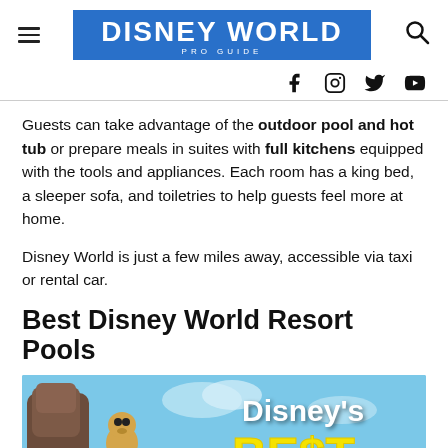DISNEY WORLD PRO GUIDE
Guests can take advantage of the outdoor pool and hot tub or prepare meals in suites with full kitchens equipped with the tools and appliances. Each room has a king bed, a sleeper sofa, and toiletries to help guests feel more at home.
Disney World is just a few miles away, accessible via taxi or rental car.
Best Disney World Resort Pools
[Figure (photo): Promotional image for Disney's Best resort pools featuring a rock formation, a Disney character, and overlay text reading "Disney's BEST" on a blue sky background.]